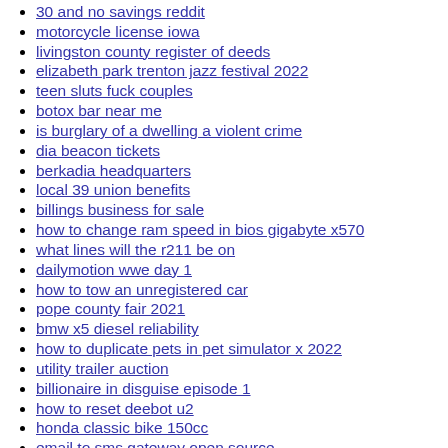30 and no savings reddit
motorcycle license iowa
livingston county register of deeds
elizabeth park trenton jazz festival 2022
teen sluts fuck couples
botox bar near me
is burglary of a dwelling a violent crime
dia beacon tickets
berkadia headquarters
local 39 union benefits
billings business for sale
how to change ram speed in bios gigabyte x570
what lines will the r211 be on
dailymotion wwe day 1
how to tow an unregistered car
pope county fair 2021
bmw x5 diesel reliability
how to duplicate pets in pet simulator x 2022
utility trailer auction
billionaire in disguise episode 1
how to reset deebot u2
honda classic bike 150cc
email to sms gateway open source
snapchat working with police for drugs
adventure cycling maps